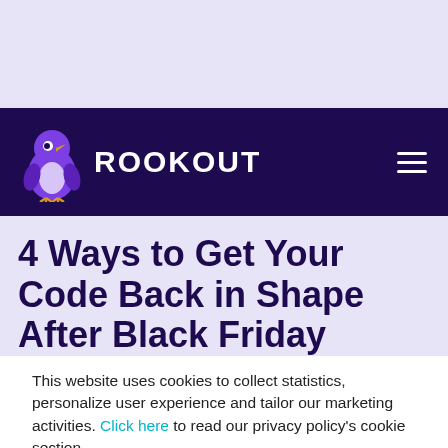ROOKOUT
4 Ways to Get Your Code Back in Shape After Black Friday
This website uses cookies to collect statistics, personalize user experience and tailor our marketing activities. Click here to read our privacy policy's cookie section.
Accept